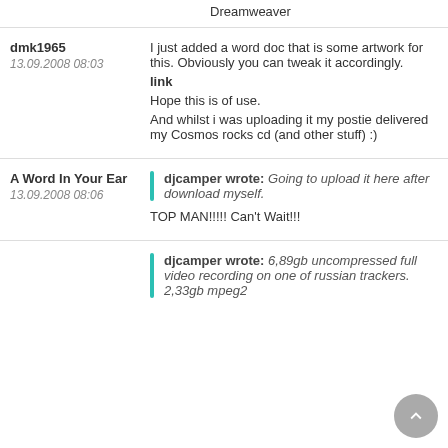Dreamweaver
dmk1965
13.09.2008 08:03
I just added a word doc that is some artwork for this. Obviously you can tweak it accordingly.
link
Hope this is of use.
And whilst i was uploading it my postie delivered my Cosmos rocks cd (and other stuff) :)
A Word In Your Ear
13.09.2008 08:06
djcamper wrote: Going to upload it here after download myself.
TOP MAN!!!!! Can't Wait!!!
djcamper wrote: 6,89gb uncompressed full video recording on one of russian trackers. 2,33gb mpeg2